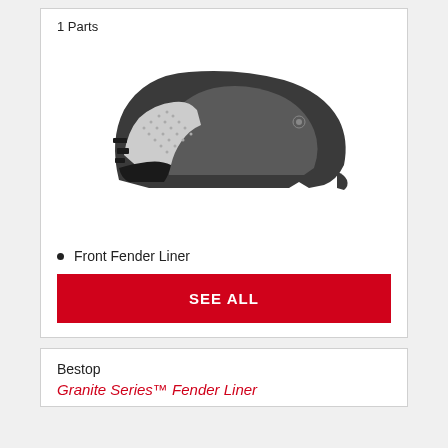1 Parts
[Figure (photo): Black plastic front fender liner automotive part, curved shape with textured surface and mounting tabs]
Front Fender Liner
SEE ALL
Bestop
Granite Series™ Fender Liner